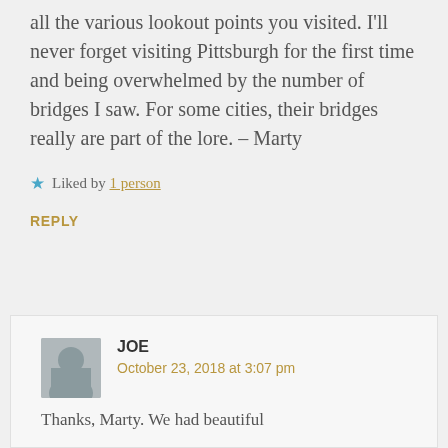all the various lookout points you visited. I'll never forget visiting Pittsburgh for the first time and being overwhelmed by the number of bridges I saw. For some cities, their bridges really are part of the lore. – Marty
★ Liked by 1 person
REPLY
JOE
October 23, 2018 at 3:07 pm
Thanks, Marty. We had beautiful